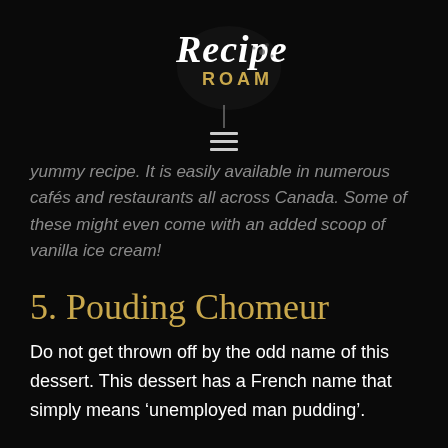[Figure (logo): Recipe Roam logo with stylized script text 'Recipe' in white italic and 'ROAM' in gold uppercase letters, with decorative paint splatter effect]
yummy recipe. It is easily available in numerous cafés and restaurants all across Canada. Some of these might even come with an added scoop of vanilla ice cream!
5. Pouding Chomeur
Do not get thrown off by the odd name of this dessert. This dessert has a French name that simply means 'unemployed man pudding'.